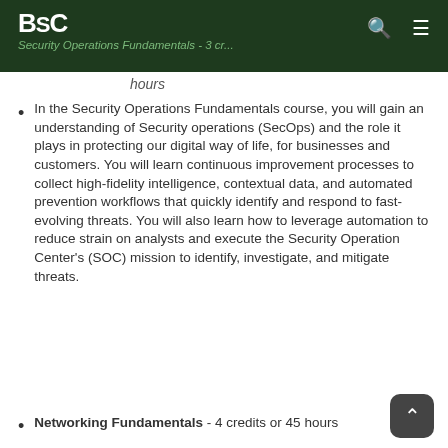BSC | Security Operations Fundamentals - 3 credits or 45 hours
hours
In the Security Operations Fundamentals course, you will gain an understanding of Security operations (SecOps) and the role it plays in protecting our digital way of life, for businesses and customers. You will learn continuous improvement processes to collect high-fidelity intelligence, contextual data, and automated prevention workflows that quickly identify and respond to fast-evolving threats. You will also learn how to leverage automation to reduce strain on analysts and execute the Security Operation Center's (SOC) mission to identify, investigate, and mitigate threats.
Networking Fundamentals - 4 credits or 45 hours